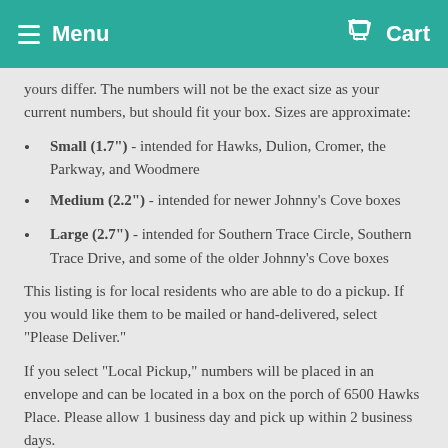Menu  Cart
yours differ. The numbers will not be the exact size as your current numbers, but should fit your box. Sizes are approximate:
Small (1.7") - intended for Hawks, Dulion, Cromer, the Parkway, and Woodmere
Medium (2.2") - intended for newer Johnny's Cove boxes
Large (2.7") - intended for Southern Trace Circle, Southern Trace Drive, and some of the older Johnny's Cove boxes
This listing is for local residents who are able to do a pickup. If you would like them to be mailed or hand-delivered, select "Please Deliver."
If you select "Local Pickup," numbers will be placed in an envelope and can be located in a box on the porch of 6500 Hawks Place. Please allow 1 business day and pick up within 2 business days.